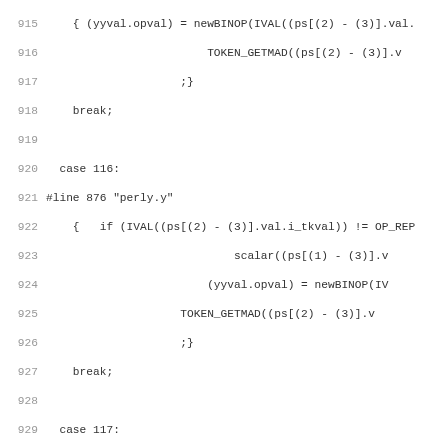915-946: Source code listing from perly.y parser, C code with case statements 115-119
[Figure (screenshot): Code listing showing lines 915-946 of a C source file, with line numbers on the left and code on the right. Contains case 116, 117, 118, 119 blocks with #line directives referencing perly.y.]